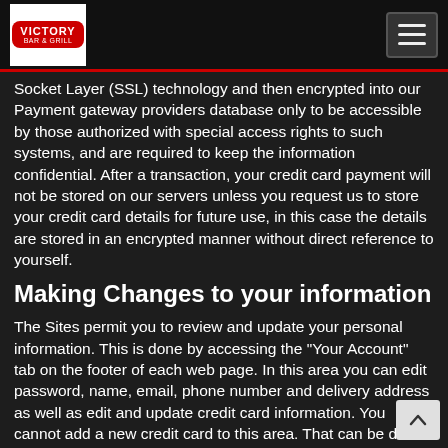Victory Bar & Grill
Socket Layer (SSL) technology and then encrypted into our Payment gateway providers database only to be accessible by those authorized with special access rights to such systems, and are required to keep the information confidential. After a transaction, your credit card payment will not be stored on our servers unless you request us to store your credit card details for future use, in this case the details are stored in an encrypted manner without direct reference to yourself.
Making Changes to your information
The Sites permit you to review and update your personal information. This is done by accessing the "Your Account" tab on the footer of each web page. In this area you can edit password, name, email, phone number and delivery address as well as edit and update credit card information. You cannot add a new credit card to this area. That can be done during the checkout process when placing an order